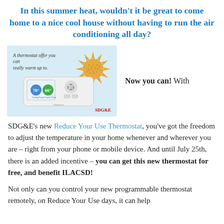In this summer heat, wouldn't it be great to come home to a nice cool house without having to run the air conditioning all day?
[Figure (illustration): Advertisement image showing a smart thermostat device with text 'A thermostat offer you can really warm up to.' and a sun graphic, with SDG&E logo. Next to the image is text: 'Now you can! With']
SDG&E's new Reduce Your Use Thermostat, you've got the freedom to adjust the temperature in your home whenever and wherever you are – right from your phone or mobile device. And until July 25th, there is an added incentive – you can get this new thermostat for free, and benefit ILACSD!
Not only can you control your new programmable thermostat remotely, on Reduce Your Use days, it can help